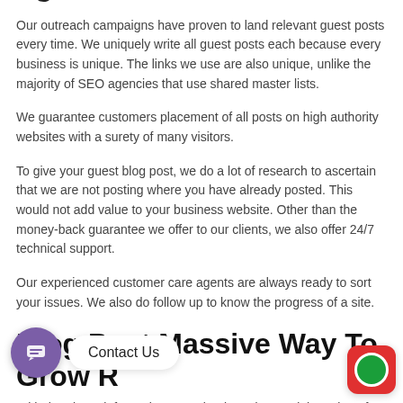agencies
Our outreach campaigns have proven to land relevant guest posts every time. We uniquely write all guest posts each because every business is unique. The links we use are also unique, unlike the majority of SEO agencies that use shared master lists.
We guarantee customers placement of all posts on high authority websites with a surety of many visitors.
To give your guest blog post, we do a lot of research to ascertain that we are not posting where you have already posted. This would not add value to your business website. Other than the money-back guarantee we offer to our clients, we also offer 24/7 technical support.
Our experienced customer care agents are always ready to sort your issues. We also do follow up to know the progress of a site.
Blog Post Massive Way To Grow R
With the above information, you clearly understand the value of purchasing guest blog posts to advertise your online business. It